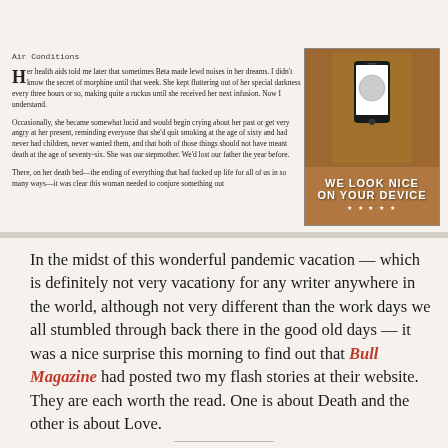[Figure (illustration): Dark horizontal image bar at top of page, dark background with subtle vertical line]
Air Conditions
Her health aids told me later that sometimes Beta made lewd noises in her dreams. I didn't know the secret of morphine until that week. She kept fluttering out of her special darkness every three hours or so, making quite a ruckus until she received her next infusion. Now I understand.
Occasionally, she became somewhat lucid and would begin crying about her past or get very angry at her present, reminding everyone that she'd quit smoking at the age of sixty and had never had children, never wanted them, and that both of those things should not have meant death at the age of seventy-six. She was our stepmother. We'd lost our father the year before.
There, on her death bed—the ending of everything that had fucked up life for all of us in so many ways—it was clear this woman needed to conjure something out
[Figure (illustration): Advertisement showing a smartphone with a face/logo on screen against wicker background, text reads WE LOOK NICE ON YOUR DEVICE]
In the midst of this wonderful pandemic vacation — which is definitely not very vacationy for any writer anywhere in the world, although not very different than the work days we all stumbled through back there in the good old days — it was a nice surprise this morning to find out that Bull Magazine had posted two my flash stories at their website. They are each worth the read. One is about Death and the other is about Love.